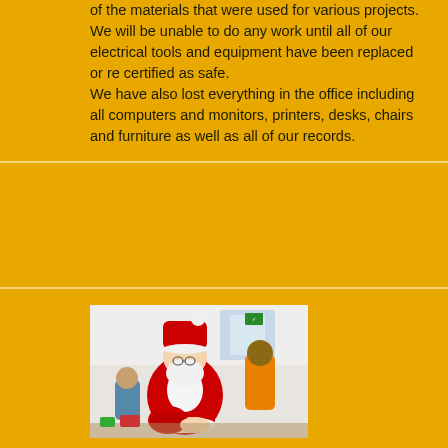of the materials that were used for various projects.
We will be unable to do any work until all of our electrical tools and equipment have been replaced or re certified as safe.
We have also lost everything in the office including all computers and monitors, printers, desks, chairs and furniture as well as all of our records.
[Figure (photo): Photo of a person dressed in a Santa Claus costume at what appears to be a Christmas party event, with other people visible in the background.]
2019 Christmas Party